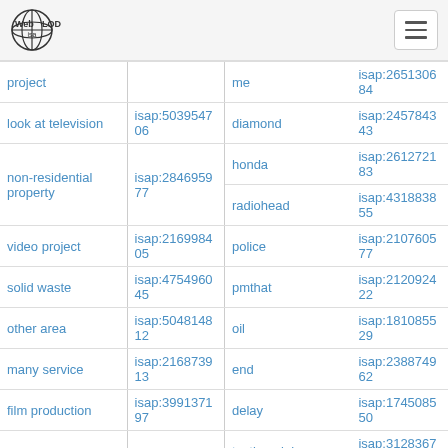Web isa LOD
| Term | ISAP (left) | Term | ISAP (right) |
| --- | --- | --- | --- |
| project |  | me | isap:265130684 |
| look at television | isap:503954706 | diamond | isap:245784343 |
| non-residential property | isap:284695977 | honda | isap:261272183 |
|  |  | radiohead | isap:431883855 |
| video project | isap:216998405 | police | isap:210760577 |
| solid waste | isap:475496045 | pmthat | isap:212092422 |
| other area | isap:504814812 | oil | isap:181085529 |
| many service | isap:216873913 | end | isap:238874962 |
| film production | isap:399137197 | delay | isap:174508550 |
| variety of application | isap:217805701 | testimonial | isap:312836706 |
|  |  | shot | isap:190548831 |